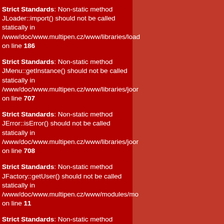Strict Standards: Non-static method JLoader::import() should not be called statically in /www/doc/www.multipen.cz/www/libraries/load on line 186
Strict Standards: Non-static method JMenu::getInstance() should not be called statically in /www/doc/www.multipen.cz/www/libraries/joor on line 707
Strict Standards: Non-static method JError::isError() should not be called statically in /www/doc/www.multipen.cz/www/libraries/joor on line 708
Strict Standards: Non-static method JFactory::getUser() should not be called statically in /www/doc/www.multipen.cz/www/modules/mo on line 11
Strict Standards: Non-static method JLoader::import() should not be called statically in